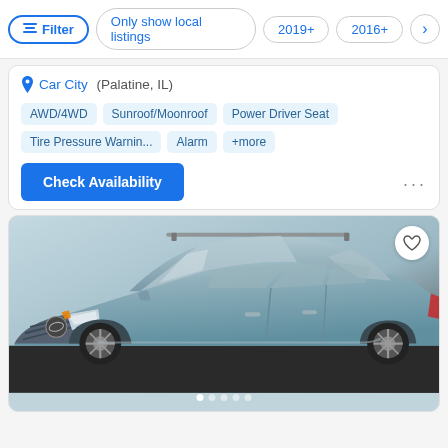Filter | Only show local listings | 2019+ | 2016+ | >
Car City (Palatine, IL)
AWD/4WD
Sunroof/Moonroof
Power Driver Seat
Tire Pressure Warnin...
Alarm
+more
Check Availability
...
[Figure (photo): Blue/silver Subaru Forester SUV photographed in a showroom setting, front 3/4 view, with roof rails visible. Image carousel with 5 dot indicators at bottom.]